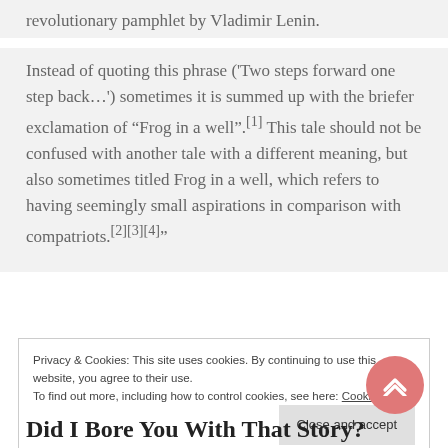revolutionary pamphlet by Vladimir Lenin.
Instead of quoting this phrase ('Two steps forward one step back…') sometimes it is summed up with the briefer exclamation of “Frog in a well”.[1] This tale should not be confused with another tale with a different meaning, but also sometimes titled Frog in a well, which refers to having seemingly small aspirations in comparison with compatriots.[2][3][4]”
Privacy & Cookies: This site uses cookies. By continuing to use this website, you agree to their use.
To find out more, including how to control cookies, see here: Cookie Policy
Close and accept
Did I Bore You With That Story?